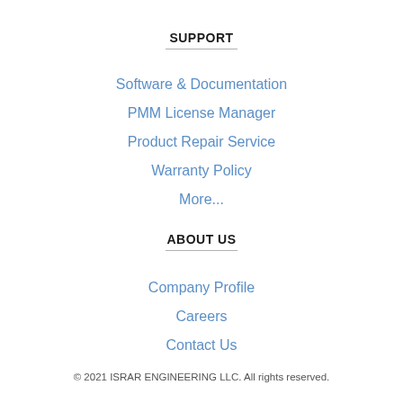SUPPORT
Software & Documentation
PMM License Manager
Product Repair Service
Warranty Policy
More...
ABOUT US
Company Profile
Careers
Contact Us
© 2021 ISRAR ENGINEERING LLC. All rights reserved.